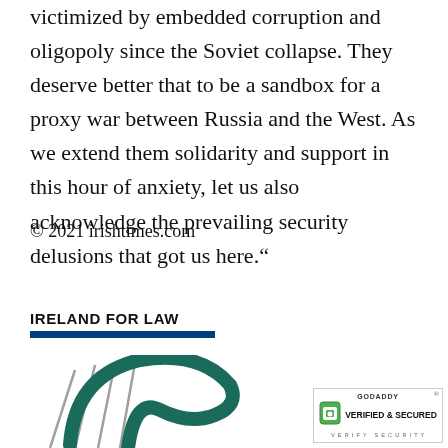victimized by embedded corruption and oligopoly since the Soviet collapse. They deserve better that to be a sandbox for a proxy war between Russia and the West. As we extend them solidarity and support in this hour of anxiety, let us also acknowledge the prevailing security delusions that got us here.“
© 2021 irishtimes.com
IRELAND FOR LAW
[Figure (logo): Ireland for Law harp logo — stylized green and grey harp outline]
[Figure (logo): GoDaddy Verified and Secured badge with lock icon]